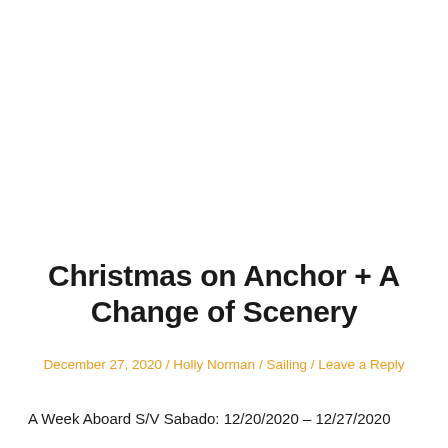Christmas on Anchor + A Change of Scenery
December 27, 2020 / Holly Norman / Sailing / Leave a Reply
A Week Aboard S/V Sabado: 12/20/2020 – 12/27/2020